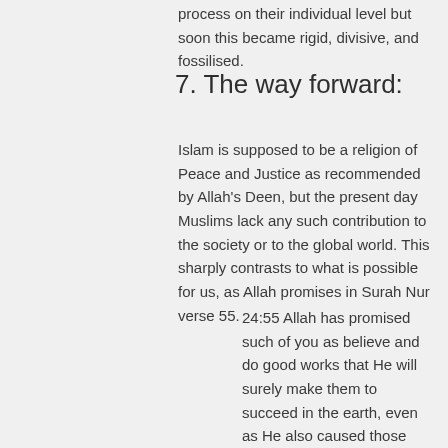process on their individual level but soon this became rigid, divisive, and fossilised.
7. The way forward:
Islam is supposed to be a religion of Peace and Justice as recommended by Allah's Deen, but the present day Muslims lack any such contribution to the society or to the global world. This sharply contrasts to what is possible for us, as Allah promises in Surah Nur verse 55.
24:55 Allah has promised such of you as believe and do good works that He will surely make them to succeed in the earth, even as He also caused those who were before them to succeed, and that He will surely establish for them their religion (Deen) which He hath approved for them; and will give them in exchange safety after their fear. They serve Me. They ascribe nothing as partner unto Me. Those who disbelieve henceforth, they are the